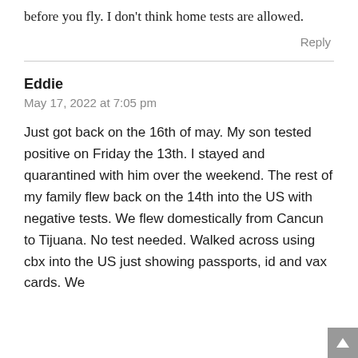before you fly. I don't think home tests are allowed.
Reply
Eddie
May 17, 2022 at 7:05 pm
Just got back on the 16th of may. My son tested positive on Friday the 13th. I stayed and quarantined with him over the weekend. The rest of my family flew back on the 14th into the US with negative tests. We flew domestically from Cancun to Tijuana. No test needed. Walked across using cbx into the US just showing passports, id and vax cards. We